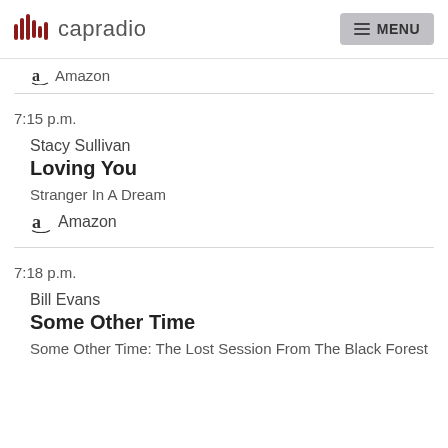capradio | MENU
Amazon
7:15 p.m.
Stacy Sullivan
Loving You
Stranger In A Dream
Amazon
7:18 p.m.
Bill Evans
Some Other Time
Some Other Time: The Lost Session From The Black Forest